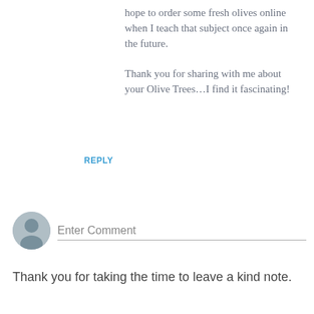hope to order some fresh olives online when I teach that subject once again in the future.

Thank you for sharing with me about your Olive Trees…I find it fascinating!
REPLY
[Figure (illustration): Generic user avatar - gray silhouette circle]
Enter Comment
Thank you for taking the time to leave a kind note.